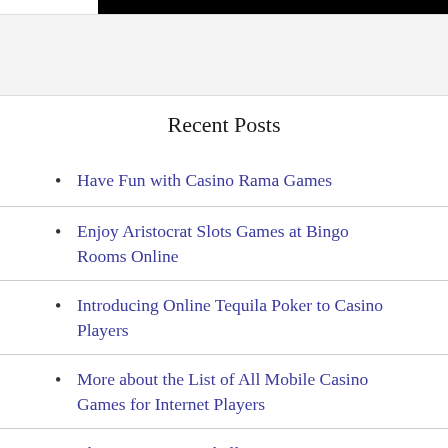[Figure (other): Black bar at the top of the page, partial image crop]
Recent Posts
Have Fun with Casino Rama Games
Enjoy Aristocrat Slots Games at Bingo Rooms Online
Introducing Online Tequila Poker to Casino Players
More about the List of All Mobile Casino Games for Internet Players
The American Football Betting